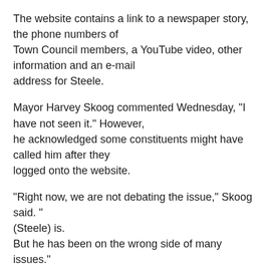The website contains a link to a newspaper story, the phone numbers of Town Council members, a YouTube video, other information and an e-mail address for Steele.
Mayor Harvey Skoog commented Wednesday, "I have not seen it." However, he acknowledged some constituents might have called him after they logged onto the website.
"Right now, we are not debating the issue," Skoog said. "(Steele) is. But he has been on the wrong side of many issues."
Town Manager Larry Tarkowski declined to comment on the website. He said two weeks ago that the town government plans to commission a telephone survey after CCA, based in Nashville, Tenn., conducts a